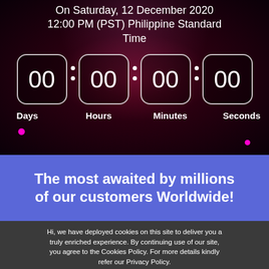On Saturday, 12 December 2020 12:00 PM (PST) Philippine Standard Time
[Figure (infographic): Countdown timer showing 00:00:00:00 for Days, Hours, Minutes, Seconds on a dark red/purple background with bokeh pink dots]
The most awaited by millions of our customers Worldwide!
Hi, we have deployed cookies on this site to deliver you a truly enriched experience. By continuing use of our site, you agree to the Cookies Policy. For more details kindly refer our Privacy Policy.
Decline  Allow